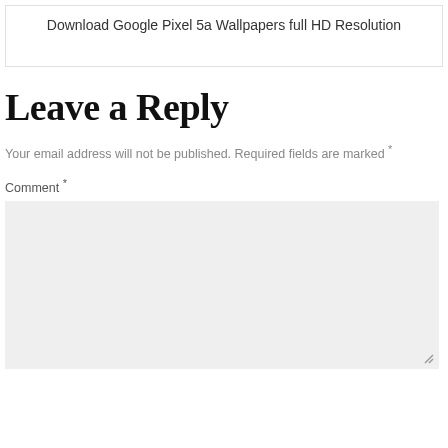Download Google Pixel 5a Wallpapers full HD Resolution
Leave a Reply
Your email address will not be published. Required fields are marked *
Comment *